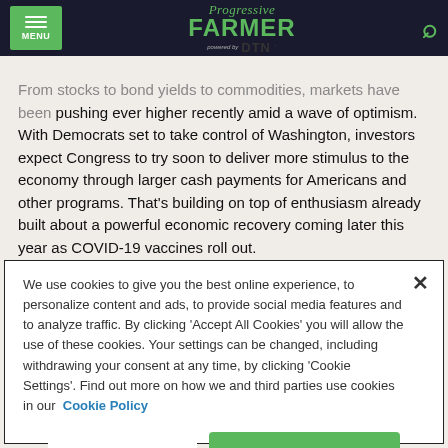MENU | Progressive Farmer powered by DTN
From stocks to bond yields to commodities, markets have been pushing ever higher recently amid a wave of optimism. With Democrats set to take control of Washington, investors expect Congress to try soon to deliver more stimulus to the economy through larger cash payments for Americans and other programs. That's building on top of enthusiasm already built about a powerful economic recovery coming later this year as COVID-19 vaccines roll out.
We use cookies to give you the best online experience, to personalize content and ads, to provide social media features and to analyze traffic. By clicking 'Accept All Cookies' you will allow the use of these cookies. Your settings can be changed, including withdrawing your consent at any time, by clicking 'Cookie Settings'. Find out more on how we and third parties use cookies in our Cookie Policy
Cookies Settings | Accept All Cookies